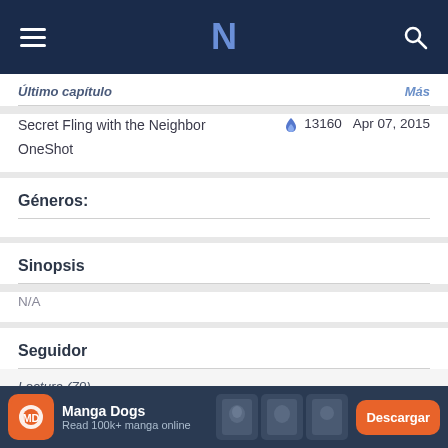Navigation bar with hamburger menu, N logo, and search icon
Último capítulo    Más
Secret Fling with the Neighbor    🔥 13160    Apr 07, 2015
OneShot
Géneros:
Sinopsis
N/A
Seguidor
Lectura (79)
Manga Dogs
Read 100k+ manga online
Descargar